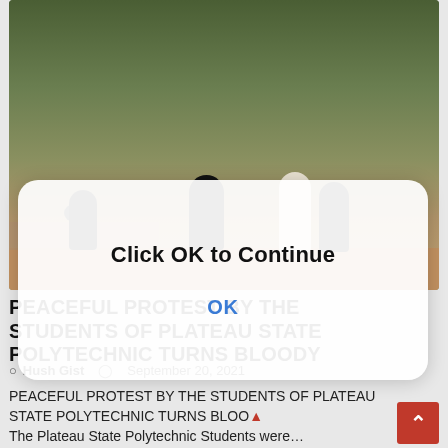[Figure (photo): Outdoor scene showing people appearing to fight or struggle near a low wall, with trees in the background and a dirt ground area.]
Click OK to Continue
OK
PEACEFUL PROTEST BY THE STUDENTS OF PLATEAU STATE POLYTECHNIC TURNS BLOODY
Hush Gist   September 20, 2021
PEACEFUL PROTEST BY THE STUDENTS OF PLATEAU STATE POLYTECHNIC TURNS BLOO... The Plateau State Polytechnic Students were…